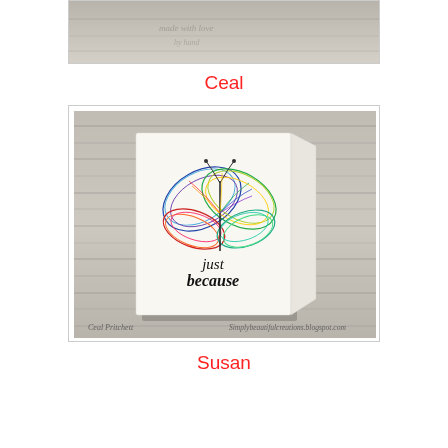[Figure (photo): Partial cropped photo at top of page, showing a light gray/beige textured surface with faint handwritten or printed text]
Ceal
[Figure (photo): A handmade greeting card leaning against a gray weathered wood background. The white card features a colorful rainbow butterfly outline drawing and the words 'just because' in script. Bottom watermark reads 'Ceal Pritchett' and 'Simplybeautifulcreations.blogspot.com']
Susan